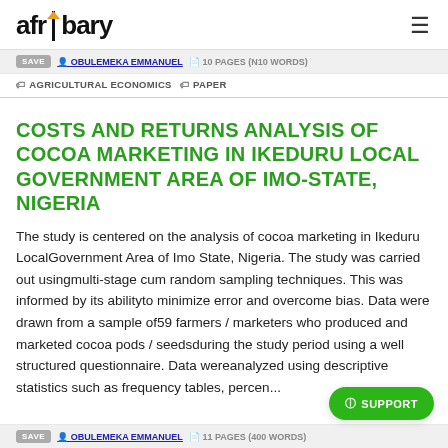afribary
SAVE | OBULEMEKA EMMANUEL | 10 PAGES (N10 WORDS)
AGRICULTURAL ECONOMICS | PAPER
COSTS AND RETURNS ANALYSIS OF COCOA MARKETING IN IKEDURU LOCAL GOVERNMENT AREA OF IMO-STATE, NIGERIA
The study is centered on the analysis of cocoa marketing in Ikeduru LocalGovernment Area of Imo State, Nigeria. The study was carried out usingmulti-stage cum random sampling techniques. This was informed by its abilityto minimize error and overcome bias. Data were drawn from a sample of59 farmers / marketers who produced and marketed cocoa pods / seedsduring the study period using a well structured questionnaire. Data wereanalyzed using descriptive statistics such as frequency tables, percen...
SAVE | OBULEMEKA EMMANUEL | 11 PAGES (400 WORDS)